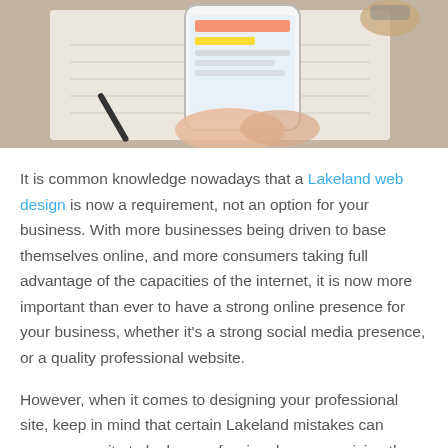[Figure (photo): Hands holding a smartphone over an open notebook on a desk, with a pen nearby, viewed from above.]
It is common knowledge nowadays that a Lakeland web design is now a requirement, not an option for your business. With more businesses being driven to base themselves online, and more consumers taking full advantage of the capacities of the internet, it is now more important than ever to have a strong online presence for your business, whether it's a strong social media presence, or a quality professional website.
However, when it comes to designing your professional site, keep in mind that certain Lakeland mistakes can cause your site to look unprofessional, compromising the overall look